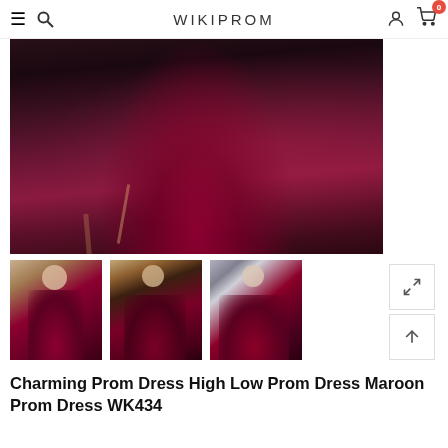WIKIPROM
[Figure (photo): Main product photo of a maroon/burgundy high-low prom dress, showing the lower portion of the dress with high heels, dramatic fabric flow]
[Figure (photo): Thumbnail 1: Full view of woman wearing charming maroon high-low prom dress]
[Figure (photo): Thumbnail 2: Side view of maroon high-low prom dress]
[Figure (photo): Thumbnail 3: Back/side view of maroon prom dress with dramatic skirt]
Charming Prom Dress High Low Prom Dress Maroon Prom Dress WK434